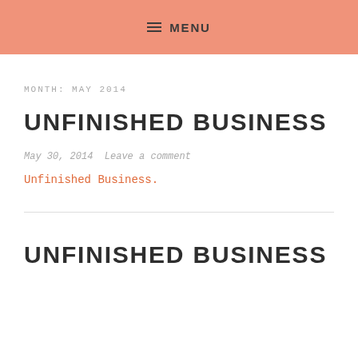≡ MENU
MONTH: MAY 2014
UNFINISHED BUSINESS
May 30, 2014  Leave a comment
Unfinished Business.
UNFINISHED BUSINESS